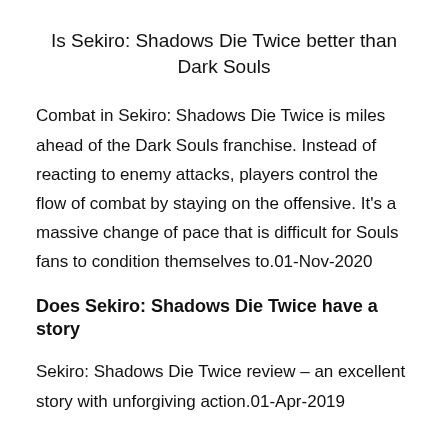Is Sekiro: Shadows Die Twice better than Dark Souls
Combat in Sekiro: Shadows Die Twice is miles ahead of the Dark Souls franchise. Instead of reacting to enemy attacks, players control the flow of combat by staying on the offensive. It's a massive change of pace that is difficult for Souls fans to condition themselves to.01-Nov-2020
Does Sekiro: Shadows Die Twice have a story
Sekiro: Shadows Die Twice review – an excellent story with unforgiving action.01-Apr-2019